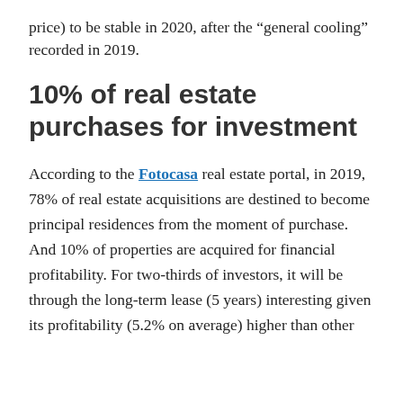price) to be stable in 2020, after the “general cooling” recorded in 2019.
10% of real estate purchases for investment
According to the Fotocasa real estate portal, in 2019, 78% of real estate acquisitions are destined to become principal residences from the moment of purchase. And 10% of properties are acquired for financial profitability. For two-thirds of investors, it will be through the long-term lease (5 years) interesting given its profitability (5.2% on average) higher than other